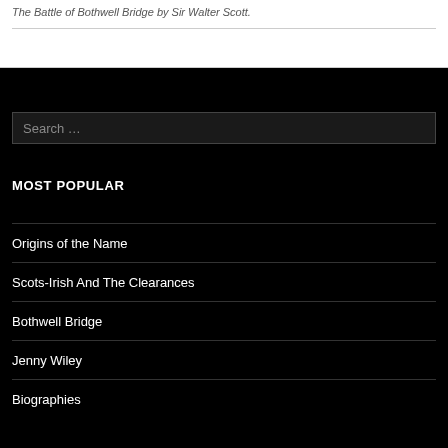The Battle of Bothwell Bridge by Sir Walter Scott.
Search …
MOST POPULAR
Origins of the Name
Scots-Irish And The Clearances
Bothwell Bridge
Jenny Wiley
Biographies